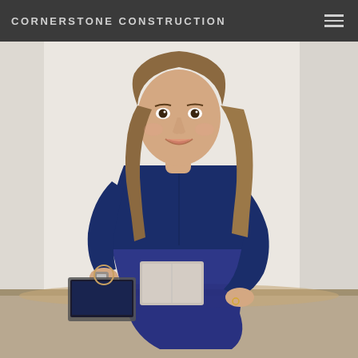CORNERSTONE CONSTRUCTION
[Figure (photo): Professional headshot of a young woman with long brown hair, wearing a navy blue long-sleeve shirt and dark jeans, sitting on a wooden table. She is holding notebooks and has a laptop open beside her. The background is a light whitewashed brick wall.]